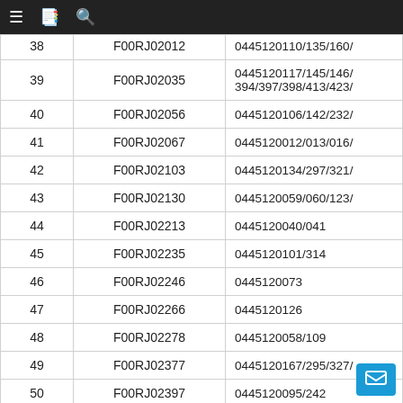≡  📋  🔍
| # | Code | Part Numbers |
| --- | --- | --- |
| 38 | F00RJ02012 | 0445120110/135/160/... |
| 39 | F00RJ02035 | 0445120117/145/146/394/397/398/413/423/... |
| 40 | F00RJ02056 | 0445120106/142/232/... |
| 41 | F00RJ02067 | 0445120012/013/016/... |
| 42 | F00RJ02103 | 0445120134/297/321/... |
| 43 | F00RJ02130 | 0445120059/060/123/... |
| 44 | F00RJ02213 | 0445120040/041 |
| 45 | F00RJ02235 | 0445120101/314 |
| 46 | F00RJ02246 | 0445120073 |
| 47 | F00RJ02266 | 0445120126 |
| 48 | F00RJ02278 | 0445120058/109 |
| 49 | F00RJ02377 | 0445120167/295/327/... |
| 50 | F00RJ02397 | 0445120095/242... |
| 51 | F00RJ02410 | 0445120179/18... |